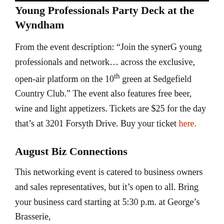Young Professionals Party Deck at the Wyndham
From the event description: “Join the synerG young professionals and network… across the exclusive, open-air platform on the 10th green at Sedgefield Country Club.” The event also features free beer, wine and light appetizers. Tickets are $25 for the day that’s at 3201 Forsyth Drive. Buy your ticket here.
August Biz Connections
This networking event is catered to business owners and sales representatives, but it’s open to all. Bring your business card starting at 5:30 p.m. at George’s Brasserie,